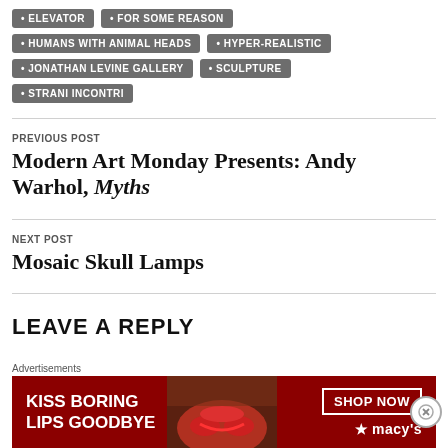ELEVATOR
FOR SOME REASON
HUMANS WITH ANIMAL HEADS
HYPER-REALISTIC
JONATHAN LEVINE GALLERY
SCULPTURE
STRANI INCONTRI
PREVIOUS POST
Modern Art Monday Presents: Andy Warhol, Myths
NEXT POST
Mosaic Skull Lamps
LEAVE A REPLY
[Figure (infographic): Advertisement banner for Macy's: 'KISS BORING LIPS GOODBYE' with SHOP NOW button and Macy's star logo on a dark red background]